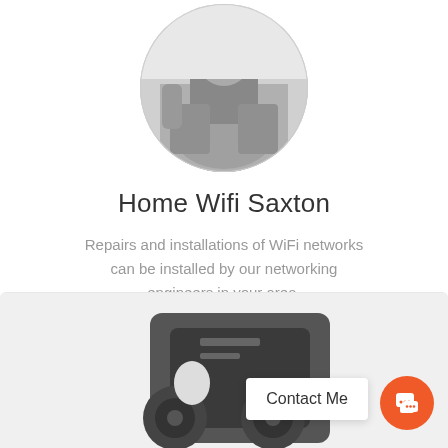[Figure (photo): Circular profile photo of a person sitting, in black and white]
Home Wifi Saxton
Repairs and installations of WiFi networks can be installed by our networking engineers in your area.
Learn More
[Figure (photo): Black and white photo of networking/electronic equipment at the bottom of the page, partially visible]
Contact Me